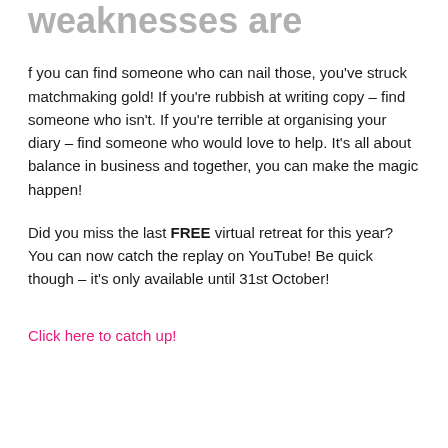weaknesses are
f you can find someone who can nail those, you've struck matchmaking gold! If you're rubbish at writing copy – find someone who isn't. If you're terrible at organising your diary – find someone who would love to help. It's all about balance in business and together, you can make the magic happen!
Did you miss the last FREE virtual retreat for this year? You can now catch the replay on YouTube! Be quick though – it's only available until 31st October!
Click here to catch up!